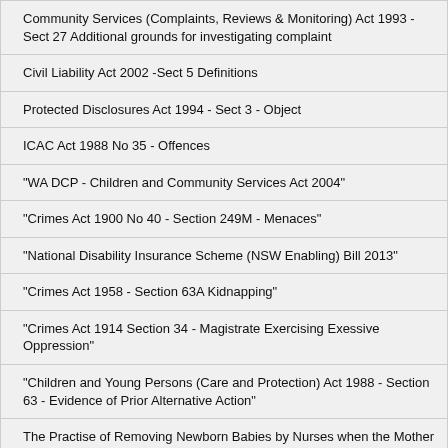| Community Services (Complaints, Reviews & Monitoring) Act 1993 - Sect 27 Additional grounds for investigating complaint |
| Civil Liability Act 2002 -Sect 5 Definitions |
| Protected Disclosures Act 1994 - Sect 3 - Object |
| ICAC Act 1988 No 35 - Offences |
| "WA DCP - Children and Community Services Act 2004" |
| "Crimes Act 1900 No 40 - Section 249M - Menaces" |
| "National Disability Insurance Scheme (NSW Enabling) Bill 2013" |
| "Crimes Act 1958 - Section 63A Kidnapping" |
| "Crimes Act 1914 Section 34 - Magistrate Exercising Exessive Oppression" |
| "Children and Young Persons (Care and Protection) Act 1988 - Section 63 - Evidence of Prior Alternative Action" |
| The Practise of Removing Newborn Babies by Nurses when the Mother hasn't even passed the Placenta |
| "Western Australia's new Mental Health Bill for Children, making Sterilisation, Psychosurgery and Electric Shock Okay! --- Completely violating the International Covenant on Childrens..." |